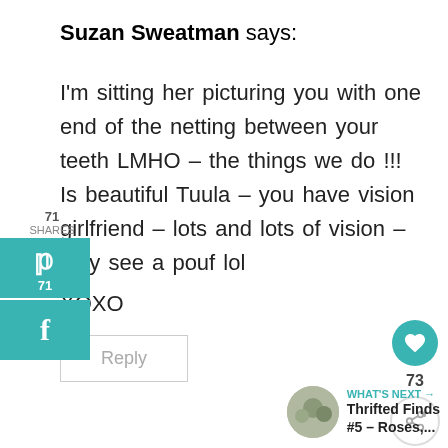Suzan Sweatman says:
I'm sitting her picturing you with one end of the netting between your teeth LMHO – the things we do !!! Is beautiful Tuula – you have vision girlfriend – lots and lots of vision – only see a pouf lol XOXO
Reply
71 SHARES
71
73
WHAT'S NEXT → Thrifted Finds #5 – Roses,...